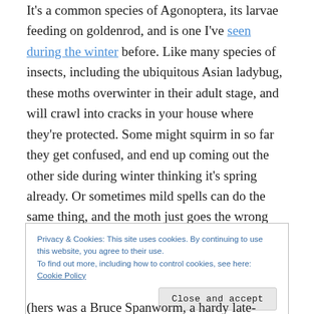It's a common species of Agonoptera, its larvae feeding on goldenrod, and is one I've seen during the winter before. Like many species of insects, including the ubiquitous Asian ladybug, these moths overwinter in their adult stage, and will crawl into cracks in your house where they're protected. Some might squirm in so far they get confused, and end up coming out the other side during winter thinking it's spring already. Or sometimes mild spells can do the same thing, and the moth just goes the wrong way when it goes to leave. Most overwintering moths are fairly cold-hardy, so it doesn't take much warming to coax them out.
Privacy & Cookies: This site uses cookies. By continuing to use this website, you agree to their use.
To find out more, including how to control cookies, see here: Cookie Policy
Close and accept
(hers was a Bruce Spanworm, a hardy late-flying